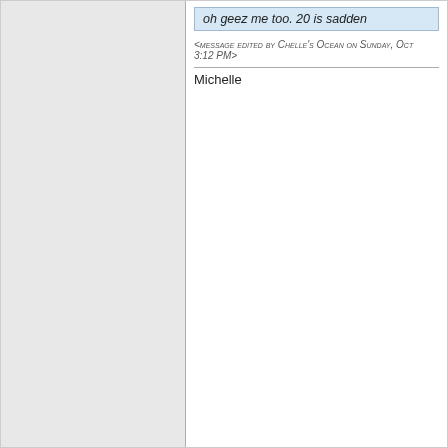oh geez me too. 20 is sadden...
<message edited by Chelle's Ocean on Sunday, Oct... 3:12 PM>
Michelle
Lance6270
Re:MBI Sigs, Display your MBI stats on ...
have mine on my club site but no points to...
| Total Posts : 32 |
| Reward points : 90 |
| Joined: 9/25/2011 |
| Location: Wylie, TX, US |
| Status: offline |